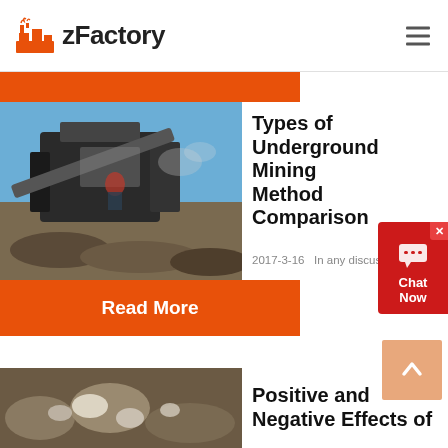zFactory
[Figure (photo): Industrial mining crusher machine on a rocky site under a blue sky]
Types of Underground Mining Method Comparison
2017-3-16   In any discussion of ...
Read More
[Figure (photo): Close-up of mining rock/mineral waste materials]
Positive and Negative Effects of